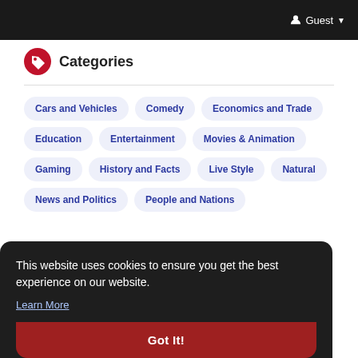Guest
Categories
Cars and Vehicles
Comedy
Economics and Trade
Education
Entertainment
Movies & Animation
Gaming
History and Facts
Live Style
Natural
News and Politics
People and Nations
This website uses cookies to ensure you get the best experience on our website.
Learn More
Got It!